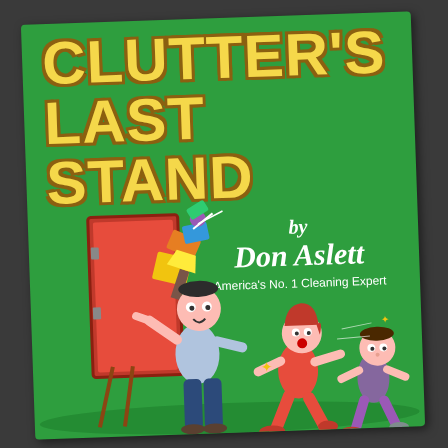[Figure (photo): Photo of a book cover for 'Clutter's Last Stand' by Don Aslett, America's No. 1 Cleaning Expert. The cover is bright green with large yellow outlined block letters for the title. A cartoon illustration shows a man holding open a door overflowing with clutter and junk, while a woman and child run away in alarm. The book is photographed at a slight angle on a dark background.]